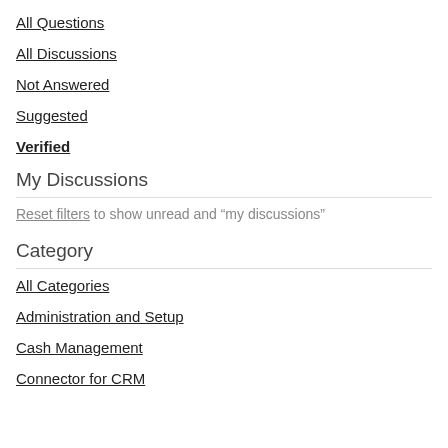All Questions
All Discussions
Not Answered
Suggested
Verified
My Discussions
Reset filters to show unread and “my discussions”
Category
All Categories
Administration and Setup
Cash Management
Connector for CRM